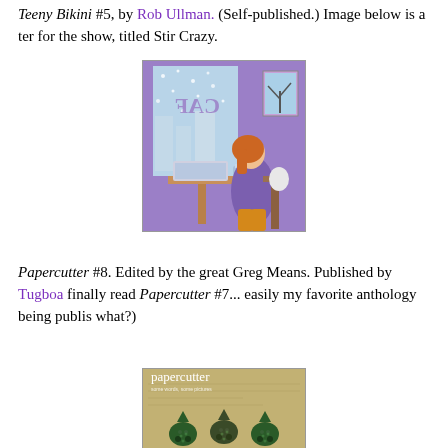Teeny Bikini #5, by Rob Ullman. (Self-published.) Image below is a ter for the show, titled Stir Crazy.
[Figure (illustration): Illustration titled 'Stir Crazy' showing a woman with red/orange hair sitting at a cafe table with a laptop and coffee cup, looking out a snowy window. The window shows reversed text 'CAF'. Purple and orange color palette.]
Papercutter #8. Edited by the great Greg Means. Published by Tugboa finally read Papercutter #7... easily my favorite anthology being publis what?)
[Figure (illustration): Cover of Papercutter magazine showing three small cartoon creature characters wearing witch/elf hats on a aged/textured background with the title 'papercutter' in white text.]